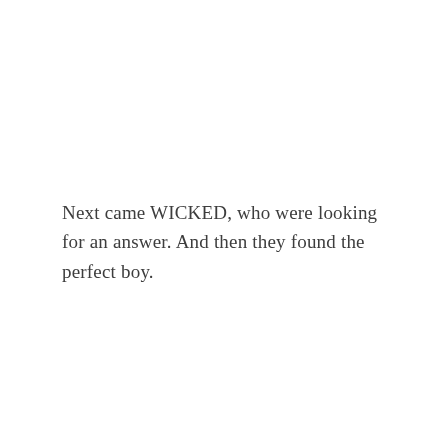Next came WICKED, who were looking for an answer. And then they found the perfect boy.